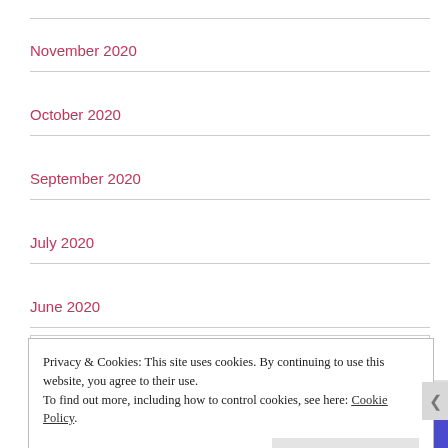November 2020
October 2020
September 2020
July 2020
June 2020
May 2020
Privacy & Cookies: This site uses cookies. By continuing to use this website, you agree to their use.
To find out more, including how to control cookies, see here: Cookie Policy
Close and accept